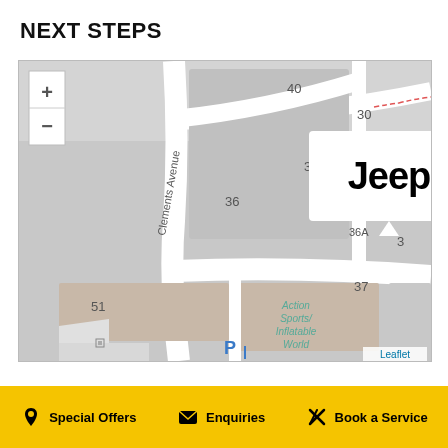NEXT STEPS
[Figure (map): Street map showing Jeep dealership location on Clements Avenue with a map pin/callout. Nearby address numbers visible: 40, 38, 36, 36A, 32, 30, 3, 51, 37. Action Sports/Inflatable World building labeled. Parking symbol visible. Zoom +/- controls in top-left. Leaflet credit bottom-right.]
Special Offers
Enquiries
Book a Service